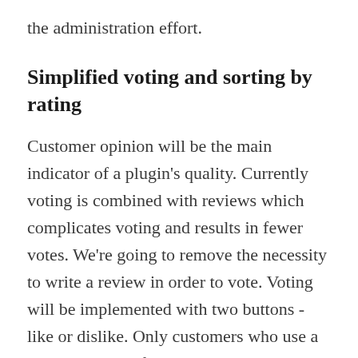the administration effort.
Simplified voting and sorting by rating
Customer opinion will be the main indicator of a plugin's quality. Currently voting is combined with reviews which complicates voting and results in fewer votes. We're going to remove the necessity to write a review in order to vote. Voting will be implemented with two buttons - like or dislike. Only customers who use a plugin can vote for it. In order to collect as much voting data as possible there will be reminders asking plugin customers to vote for plugins they use.